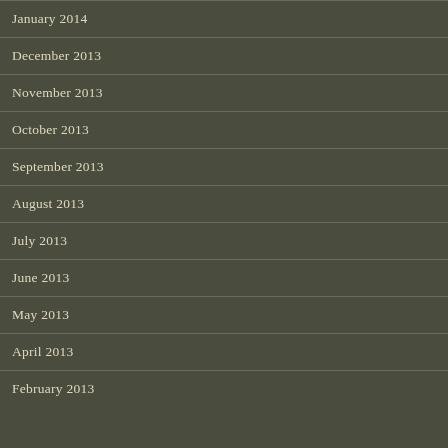January 2014
December 2013
November 2013
October 2013
September 2013
August 2013
July 2013
June 2013
May 2013
April 2013
February 2013